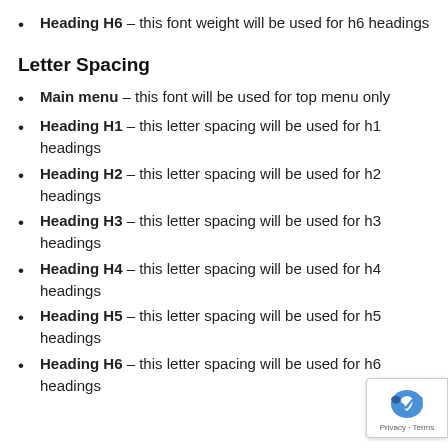Heading H6 – this font weight will be used for h6 headings
Letter Spacing
Main menu – this font will be used for top menu only
Heading H1 – this letter spacing will be used for h1 headings
Heading H2 – this letter spacing will be used for h2 headings
Heading H3 – this letter spacing will be used for h3 headings
Heading H4 – this letter spacing will be used for h4 headings
Heading H5 – this letter spacing will be used for h5 headings
Heading H6 – this letter spacing will be used for h6 headings